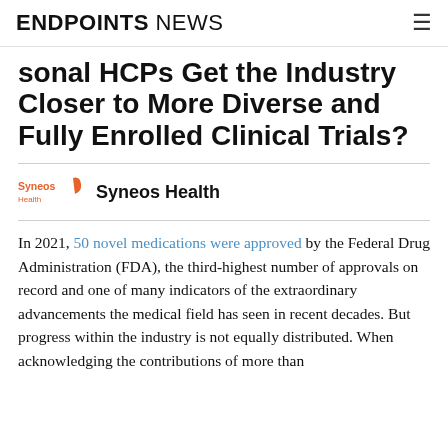ENDPOINTS NEWS
sonal HCPs Get the Industry Closer to More Diverse and Fully Enrolled Clinical Trials?
[Figure (logo): Syneos Health logo with orange icon and text]
Syneos Health
In 2021, 50 novel medications were approved by the Federal Drug Administration (FDA), the third-highest number of approvals on record and one of many indicators of the extraordinary advancements the medical field has seen in recent decades. But progress within the industry is not equally distributed. When acknowledging the contributions of more than